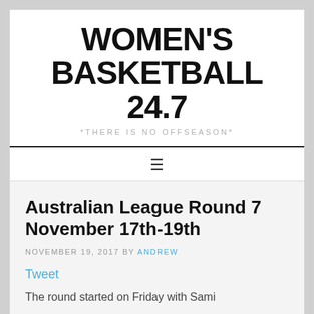WOMEN'S BASKETBALL 24.7
*THERE IS NO OFFSEASON*
Australian League Round 7 November 17th-19th
NOVEMBER 19, 2017 BY ANDREW
Tweet
The round started on Friday with Sami